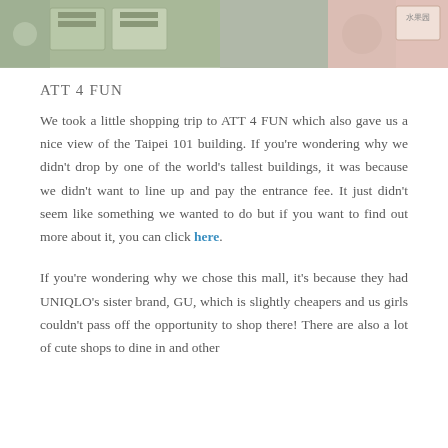[Figure (photo): Top portion of a photo showing boxes with Asian characters and what appears to be a shopping or market scene. Left side shows boxes/packages, right side shows a pink area with a label.]
ATT 4 FUN
We took a little shopping trip to ATT 4 FUN which also gave us a nice view of the Taipei 101 building. If you're wondering why we didn't drop by one of the world's tallest buildings, it was because we didn't want to line up and pay the entrance fee. It just didn't seem like something we wanted to do but if you want to find out more about it, you can click here.
If you're wondering why we chose this mall, it's because they had UNIQLO's sister brand, GU, which is slightly cheapers and us girls couldn't pass off the opportunity to shop there! There are also a lot of cute shops to dine in and other